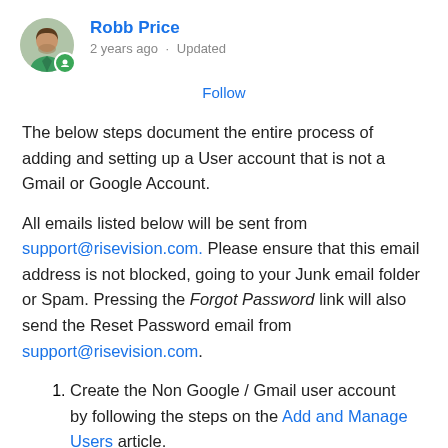[Figure (photo): Circular avatar photo of Robb Price with a green badge icon at bottom right]
Robb Price
2 years ago · Updated
Follow
The below steps document the entire process of adding and setting up a User account that is not a Gmail or Google Account.
All emails listed below will be sent from support@risevision.com. Please ensure that this email address is not blocked, going to your Junk email folder or Spam. Pressing the Forgot Password link will also send the Reset Password email from support@risevision.com.
Create the Non Google / Gmail user account by following the steps on the Add and Manage Users article.